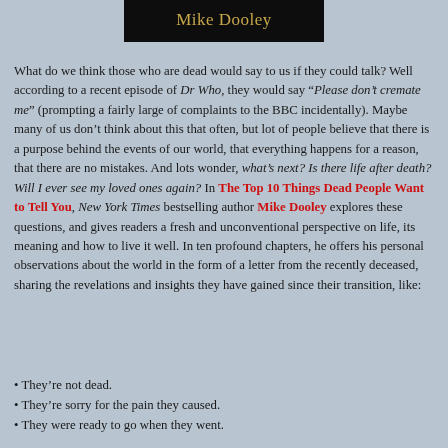Mike Dooley
What do we think those who are dead would say to us if they could talk? Well according to a recent episode of Dr Who, they would say “Please don’t cremate me” (prompting a fairly large of complaints to the BBC incidentally). Maybe many of us don’t think about this that often, but lot of people believe that there is a purpose behind the events of our world, that everything happens for a reason, that there are no mistakes. And lots wonder, what’s next? Is there life after death? Will I ever see my loved ones again? In The Top 10 Things Dead People Want to Tell You, New York Times bestselling author Mike Dooley explores these questions, and gives readers a fresh and unconventional perspective on life, its meaning and how to live it well. In ten profound chapters, he offers his personal observations about the world in the form of a letter from the recently deceased, sharing the revelations and insights they have gained since their transition, like:
They're not dead.
They're sorry for the pain they caused.
They were ready to go when they went.